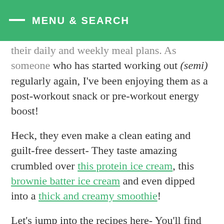MENU & SEARCH
their daily and weekly meal plans. As someone who has started working out (semi) regularly again, I've been enjoying them as a post-workout snack or pre-workout energy boost!
Heck, they even make a clean eating and guilt-free dessert- They taste amazing crumbled over this protein ice cream, this brownie batter ice cream and even dipped into a thick and creamy smoothie!
Let's jump into the recipes here- You'll find the additions under each complete cookie what amendments need to be made to the base recipe to give it the flavor profile!